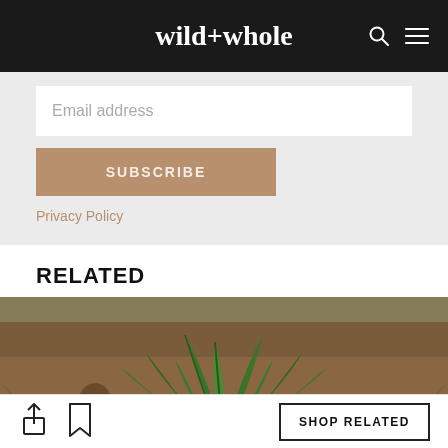wild+whole
Email address
SUBSCRIBE
Privacy Policy
RELATED
[Figure (photo): Close-up photo of wild green plants with broad leaves growing from forest floor with pine cone and leaf litter in background]
SHOP RELATED